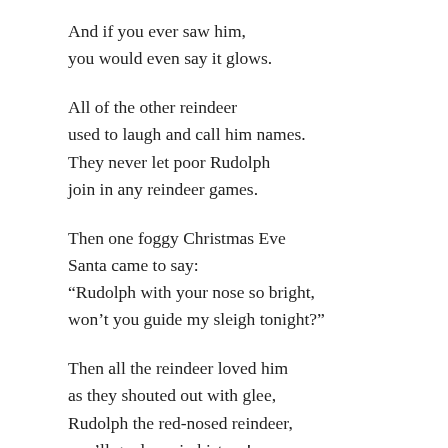And if you ever saw him,
you would even say it glows.
All of the other reindeer
used to laugh and call him names.
They never let poor Rudolph
join in any reindeer games.
Then one foggy Christmas Eve
Santa came to say:
“Rudolph with your nose so bright,
won’t you guide my sleigh tonight?”
Then all the reindeer loved him
as they shouted out with glee,
Rudolph the red-nosed reindeer,
you’ll go down in history!
Santa Claus is Coming to Town